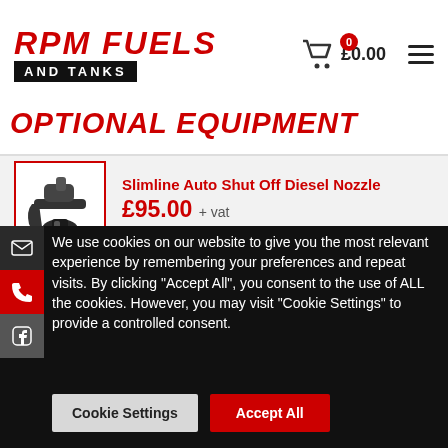RPM FUELS AND TANKS | £0.00
OPTIONAL EQUIPMENT
Slimline Auto Shut Off Diesel Nozzle £95.00 + vat £114.00 inc VAT
Fuel Dispensing System. From: £415.00 + vat
We use cookies on our website to give you the most relevant experience by remembering your preferences and repeat visits. By clicking "Accept All", you consent to the use of ALL the cookies. However, you may visit "Cookie Settings" to provide a controlled consent.